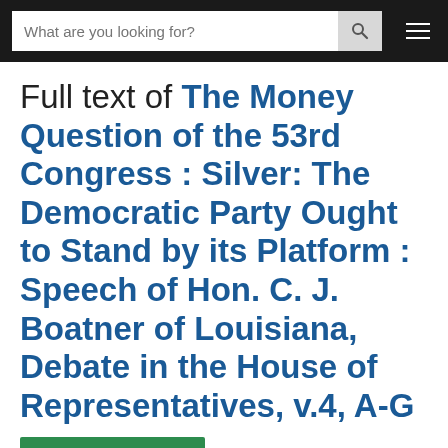What are you looking for? [search bar with hamburger menu]
Full text of The Money Question of the 53rd Congress : Silver: The Democratic Party Ought to Stand by its Platform : Speech of Hon. C. J. Boatner of Louisiana, Debate in the House of Representatives, v.4, A-G